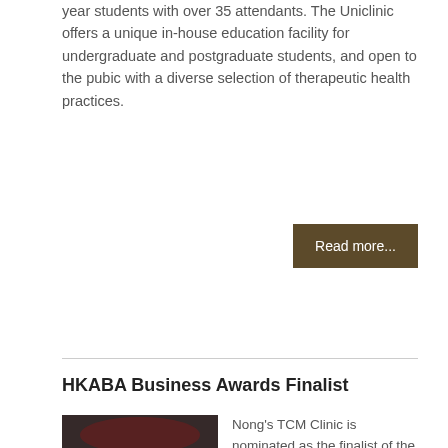year students with over 35 attendants. The Uniclinic offers a unique in-house education facility for undergraduate and postgraduate students, and open to the pubic with a diverse selection of therapeutic health practices.
Read more...
HKABA Business Awards Finalist
[Figure (photo): Group photo of award nominees/finalists at the HK-Australia Business Awards 2014 event, standing in front of a backdrop, formally dressed.]
Nong's TCM Clinic is nominated as the finalist of the HK-Australia Business Awards 2014. The presentation of the awards was held on 3rd October at the Grand Hilton Hotel in the format of a Gala Dinner with more than 500 guests at this prestigious event.
This year commemorates the 15th HKABA NSW Chapter